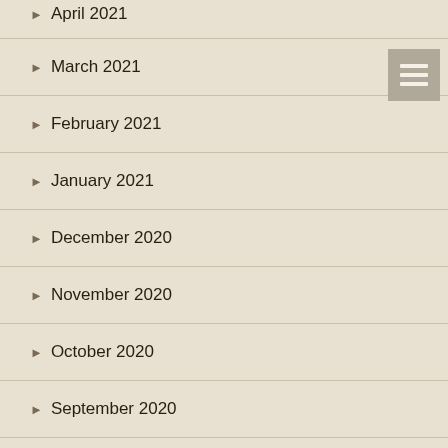April 2021
March 2021
February 2021
January 2021
December 2020
November 2020
October 2020
September 2020
August 2020